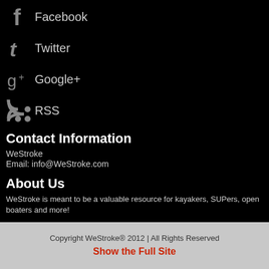Facebook
Twitter
Google+
RSS
Contact Information
WeStroke
Email: info@WeStroke.com
About Us
WeStroke is meant to be a valuable resource for kayakers, SUPers, open boaters and more!
Whether you are looking for the latest kayaking videos, gear reviews, river information or more, we have it at WeStroke.com.
Copyright WeStroke® 2012 | All Rights Reserved
Show the Full Site